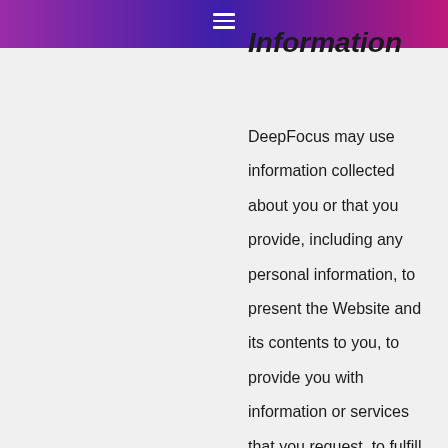Information
DeepFocus may use information collected about you or that you provide, including any personal information, to present the Website and its contents to you, to provide you with information or services that you request, to fulfill any other purpose for which you provide it, to carry out our obligations and enforce our rights arising from any contracts entered into between you and us, including for billing and collection, to notify you about changes to the Website or any